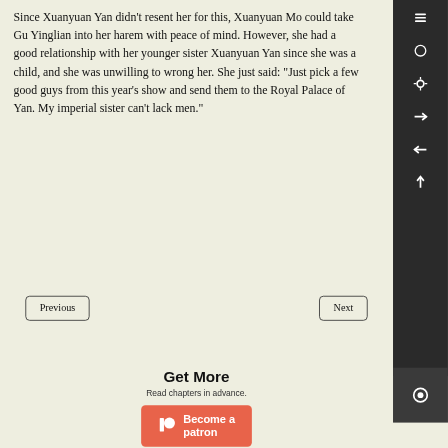Since Xuanyuan Yan didn't resent her for this, Xuanyuan Mo could take Gu Yinglian into her harem with peace of mind. However, she had a good relationship with her younger sister Xuanyuan Yan since she was a child, and she was unwilling to wrong her. She just said: "Just pick a few good guys from this year's show and send them to the Royal Palace of Yan. My imperial sister can't lack men."
Previous
Next
Get More
Read chapters in advance.
Become a patron